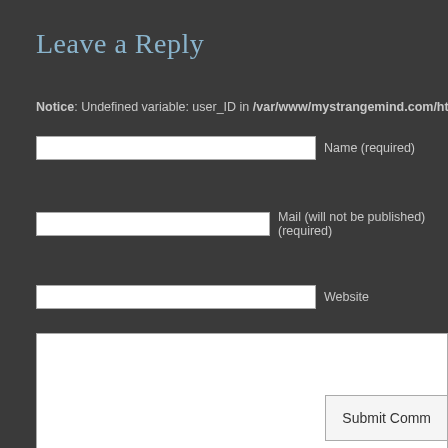Leave a Reply
Notice: Undefined variable: user_ID in /var/www/mystrangemind.com/htdocs/w
Name (required)
Mail (will not be published) (required)
Website
Submit Comm